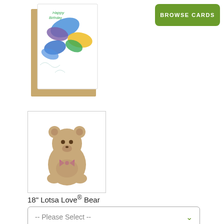[Figure (photo): Greeting card with colorful butterflies and a brown envelope behind it]
[Figure (other): Green BROWSE CARDS button]
[Figure (photo): Thumbnail image of an 18-inch Lotsa Love Bear stuffed animal]
18" Lotsa Love® Bear
[Figure (other): Please Select dropdown selector]
[Figure (other): ADD TO CART button (grayed out)]
[Figure (logo): TrustedSite Certified Secure badge (left)]
[Figure (logo): TrustedSite Certified Secure badge (right)]